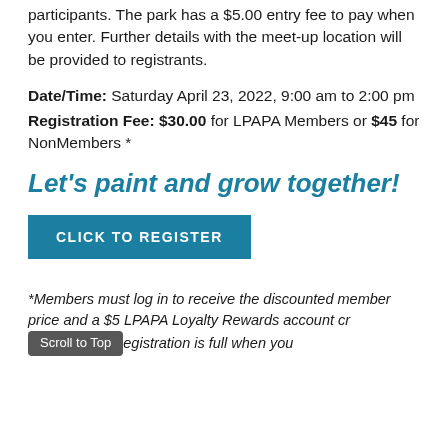participants. The park has a $5.00 entry fee to pay when you enter. Further details with the meet-up location will be provided to registrants.
Date/Time: Saturday April 23, 2022, 9:00 am to 2:00 pm
Registration Fee: $30.00 for LPAPA Members or $45 for NonMembers *
Let's paint and grow together!
CLICK TO REGISTER
*Members must log in to receive the discounted member price and a $5 LPAPA Loyalty Rewards account cr... registration is full when you